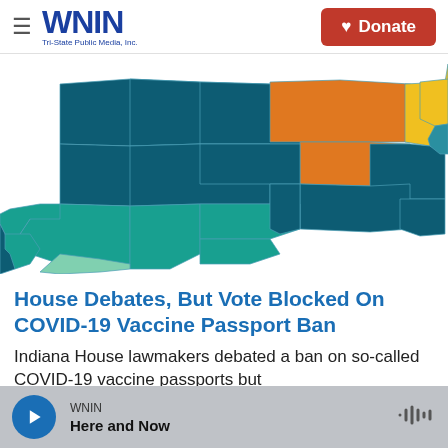WNIN Tri-State Public Media, Inc. | Donate
[Figure (map): Choropleth map of Tennessee counties colored in dark teal, teal/green, light teal, orange, and yellow indicating various data categories by county.]
House Debates, But Vote Blocked On COVID-19 Vaccine Passport Ban
Indiana House lawmakers debated a ban on so-called COVID-19 vaccine passports but...
WNIN | Here and Now